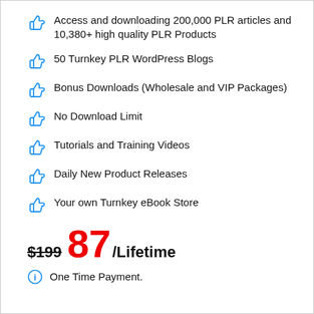Access and downloading 200,000 PLR articles and 10,380+ high quality PLR Products
50 Turnkey PLR WordPress Blogs
Bonus Downloads (Wholesale and VIP Packages)
No Download Limit
Tutorials and Training Videos
Daily New Product Releases
Your own Turnkey eBook Store
$199 87 /Lifetime
One Time Payment.